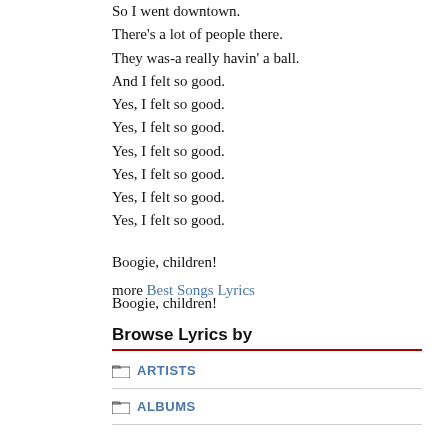So I went downtown.
There's a lot of people there.
They was-a really havin' a ball.
And I felt so good.
Yes, I felt so good.
Yes, I felt so good.
Yes, I felt so good.
Yes, I felt so good.
Yes, I felt so good.
Yes, I felt so good.
Boogie, children!
Boogie, children!
more Best Songs Lyrics
Browse Lyrics by
ARTISTS
ALBUMS